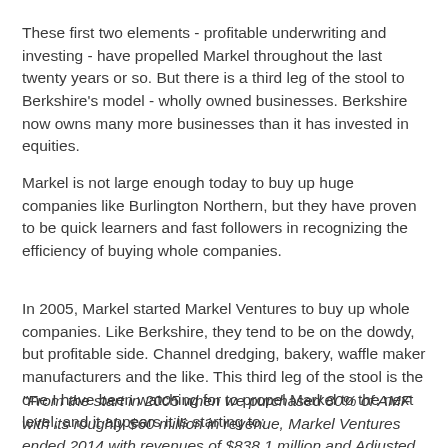These first two elements - profitable underwriting and investing - have propelled Markel throughout the last twenty years or so. But there is a third leg of the stool to Berkshire's model - wholly owned businesses. Berkshire now owns many more businesses than it has invested in equities.
Markel is not large enough today to buy up huge companies like Burlington Northern, but they have proven to be quick learners and fast followers in recognizing the efficiency of buying whole companies.
In 2005, Markel started Markel Ventures to buy up whole companies. Like Berkshire, they tend to be on the dowdy, but profitable side. Channel dredging, bakery, waffle maker manufacturers and the like. This third leg of the stool is the one I have been watching for to propel Markel to the next level, and it appears it is starting to:
"From the start in 2005 when we purchased 80% of AMF with its roughly $60 million in revenue, Markel Ventures ended 2014 with revenues of $838.1 million and Adjusted